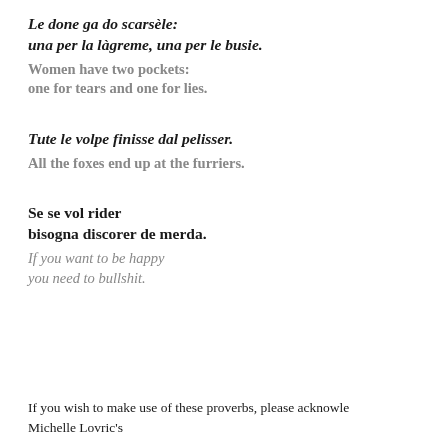Le done ga do scarsèle:
una per la làgreme, una per le busie.
Women have two pockets:
one for tears and one for lies.
Tute le volpe finisse dal pelisser.
All the foxes end up at the furriers.
Se se vol rider
bisogna discorer de merda.
If you want to be happy
you need to bullshit.
If you wish to make use of these proverbs, please acknowledge Michelle Lovric's